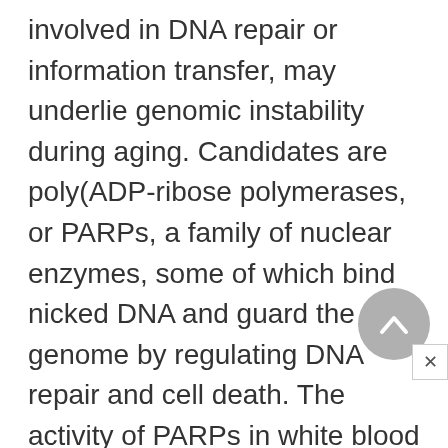involved in DNA repair or information transfer, may underlie genomic instability during aging. Candidates are poly(ADP-ribose polymerases, or PARPs, a family of nuclear enzymes, some of which bind nicked DNA and guard the genome by regulating DNA repair and cell death. The activity of PARPs in white blood cells from thirteen mammalian species correlates with life span, yet knockout of the PARP-1 gene confers resistance to stroke and diabetes. Other candidates